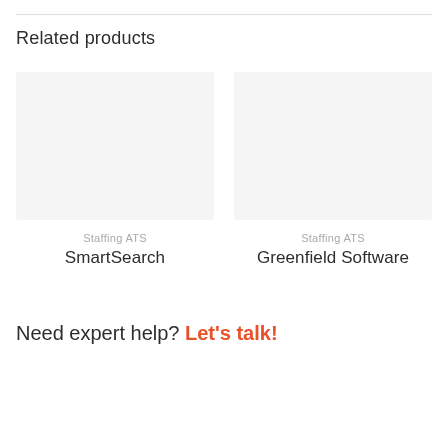Related products
[Figure (other): Empty light gray placeholder image for SmartSearch product]
Staffing ATS
SmartSearch
[Figure (other): Empty light gray placeholder image for Greenfield Software product]
Staffing ATS
Greenfield Software
Need expert help? Let's talk!